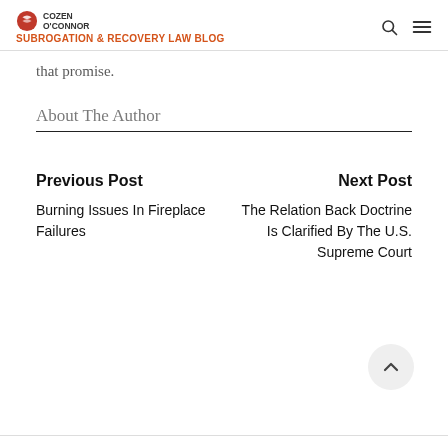COZEN O'CONNOR SUBROGATION & RECOVERY LAW BLOG
that promise.
About The Author
Previous Post
Burning Issues In Fireplace Failures
Next Post
The Relation Back Doctrine Is Clarified By The U.S. Supreme Court